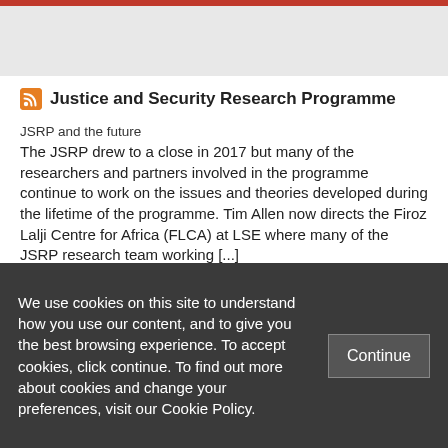Justice and Security Research Programme
JSRP and the future
The JSRP drew to a close in 2017 but many of the researchers and partners involved in the programme continue to work on the issues and theories developed during the lifetime of the programme. Tim Allen now directs the Firoz Lalji Centre for Africa (FLCA) at LSE where many of the JSRP research team working [...]
Life after the LRA
The JSRP reached the end of its grant in spring 2017 but several outputs from the programme are scheduled for publication in the coming months. The next step of
We use cookies on this site to understand how you use our content, and to give you the best browsing experience. To accept cookies, click continue. To find out more about cookies and change your preferences, visit our Cookie Policy.